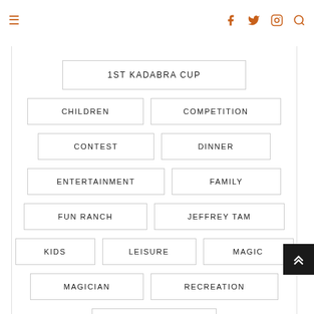≡  f  twitter  instagram  search
1ST KADABRA CUP
CHILDREN
COMPETITION
CONTEST
DINNER
ENTERTAINMENT
FAMILY
FUN RANCH
JEFFREY TAM
KIDS
LEISURE
MAGIC
MAGICIAN
RECREATION
SHOW